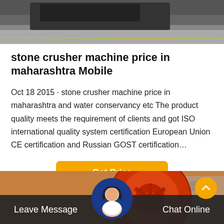[Figure (photo): Top portion of a photo showing what appears to be heavy machinery or construction equipment, partially cropped]
stone crusher machine price in maharashtra Mobile
Oct 18 2015 · stone crusher machine price in maharashtra and water conservancy etc The product quality meets the requirement of clients and got ISO international quality system certification European Union CE certification and Russian GOST certification…
[Figure (other): Orange/amber button labeled 'Get Price']
[Figure (photo): Bottom photo showing a large red industrial gear wheel from a stone crusher machine]
Leave Message
Chat Online